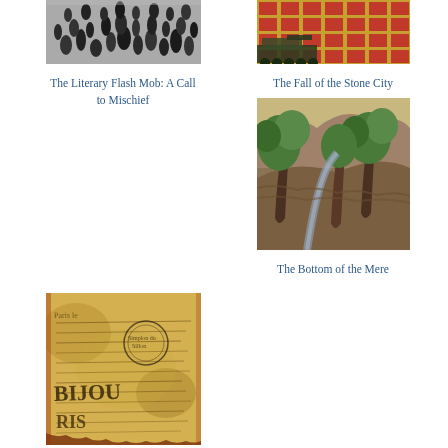[Figure (photo): Black and white photo of a crowd of people, representing a flash mob or public gathering]
The Literary Flash Mob: A Call to Mischief
[Figure (photo): Colorful photo of a tank in front of a building with red and yellow patterned facade]
The Fall of the Stone City
[Figure (illustration): Painting resembling Van Gogh style with swirling trees and landscape in greens, blues, and earth tones]
The Bottom of the Mere
[Figure (photo): Aged, yellowed vintage document or letter with French text, stamps, and handwriting]
Letter to a Fiction Teacher